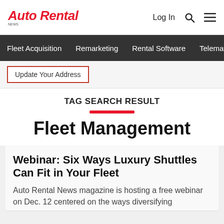Auto Rental News — Log In
Fleet Acquisition  Remarketing  Rental Software  Telemat
Update Your Address
TAG SEARCH RESULT
Fleet Management
Webinar: Six Ways Luxury Shuttles Can Fit in Your Fleet
Auto Rental News magazine is hosting a free webinar on Dec. 12 centered on the ways diversifying